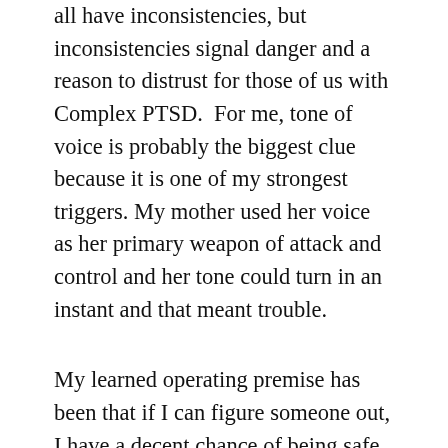all have inconsistencies, but inconsistencies signal danger and a reason to distrust for those of us with Complex PTSD.  For me, tone of voice is probably the biggest clue because it is one of my strongest triggers. My mother used her voice as her primary weapon of attack and control and her tone could turn in an instant and that meant trouble.
My learned operating premise has been that if I can figure someone out, I have a decent chance of being safe or at least getting out before things get dangerous. The big downside for me is that this has been coupled with a deep and unconscious fear of looking below the surface of people's stated intentions. What was below